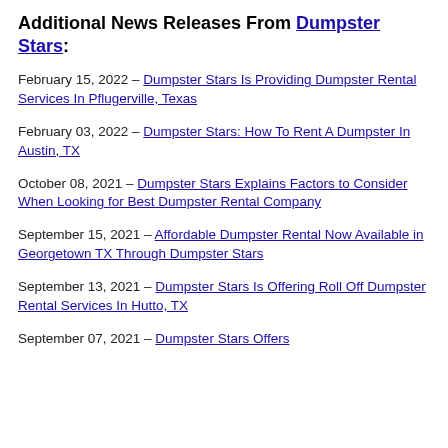Additional News Releases From Dumpster Stars:
February 15, 2022 – Dumpster Stars Is Providing Dumpster Rental Services In Pflugerville, Texas
February 03, 2022 – Dumpster Stars: How To Rent A Dumpster In Austin, TX
October 08, 2021 – Dumpster Stars Explains Factors to Consider When Looking for Best Dumpster Rental Company
September 15, 2021 – Affordable Dumpster Rental Now Available in Georgetown TX Through Dumpster Stars
September 13, 2021 – Dumpster Stars Is Offering Roll Off Dumpster Rental Services In Hutto, TX
September 07, 2021 – Dumpster Stars Offers